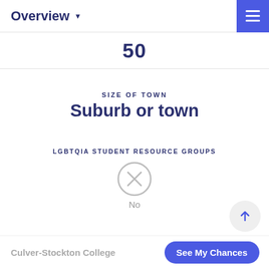Overview
50
SIZE OF TOWN
Suburb or town
LGBTQIA STUDENT RESOURCE GROUPS
[Figure (infographic): Circle with X icon indicating No]
No
ON CAMPUS WOMEN'S CENTER
Culver-Stockton College  See My Chances